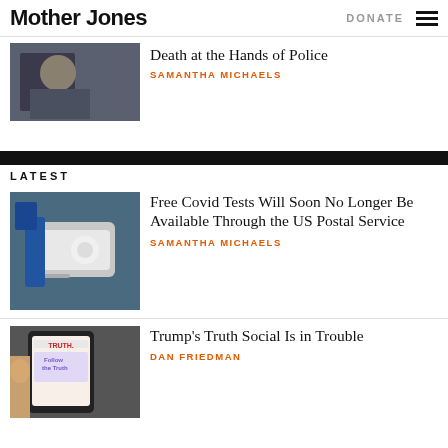Mother Jones | DONATE
Death at the Hands of Police
SAMANTHA MICHAELS
LATEST
Free Covid Tests Will Soon No Longer Be Available Through the US Postal Service
SAMANTHA MICHAELS
Trump's Truth Social Is in Trouble
DAN FRIEDMAN